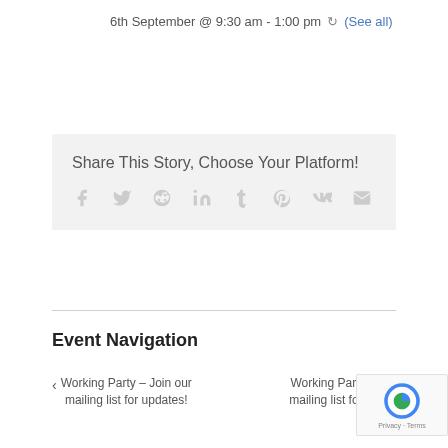6th September @ 9:30 am - 1:00 pm ↻ (See all)
Share This Story, Choose Your Platform!
Social share icons: facebook, twitter, reddit, linkedin, tumblr, pinterest, vk, email
Event Navigation
< Working Party – Join our mailing list for updates!
Working Party – Join our mailing list for updates!